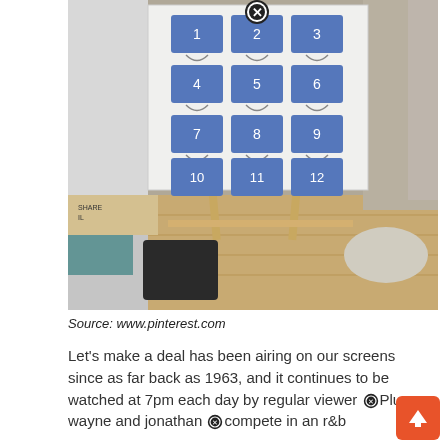[Figure (photo): A homemade advent calendar or game board with 12 numbered blue envelopes arranged in a 3×4 grid on a white board, propped on a wooden easel on a wooden floor in a room. Numbers 1-12 visible on the blue pockets. A close button icon overlays the top center.]
Source: www.pinterest.com
Let's make a deal has been airing on our screens since as far back as 1963, and it continues to be watched at 7pm each day by regular viewers. Plus, wayne and jonathon compete in an r&b